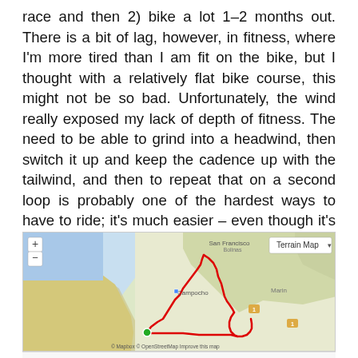race and then 2) bike a lot 1–2 months out. There is a bit of lag, however, in fitness, where I'm more tired than I am fit on the bike, but I thought with a relatively flat bike course, this might not be so bad. Unfortunately, the wind really exposed my lack of depth of fitness. The need to be able to grind into a headwind, then switch it up and keep the cadence up with the tailwind, and then to repeat that on a second loop is probably one of the hardest ways to have to ride; it's much easier – even though it's unpleasant – to go tail/head/tail/head rather than head/tail/head/tail.
[Figure (map): Terrain map showing a bike route drawn in red near the coast, with a green dot marker at start point. Map includes labels for San Francisco, Campocho, and surrounding terrain. Controls show + and - zoom buttons. Attribution: Mapbox, OpenStreetMap. Improve this map link shown.]